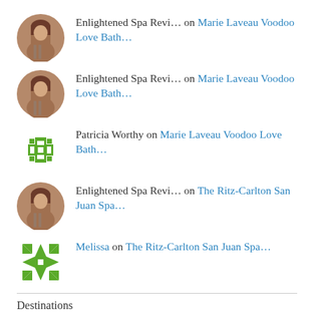Enlightened Spa Revi… on Marie Laveau Voodoo Love Bath…
Enlightened Spa Revi… on Marie Laveau Voodoo Love Bath…
Patricia Worthy on Marie Laveau Voodoo Love Bath…
Enlightened Spa Revi… on The Ritz-Carlton San Juan Spa…
Melissa on The Ritz-Carlton San Juan Spa…
Destinations